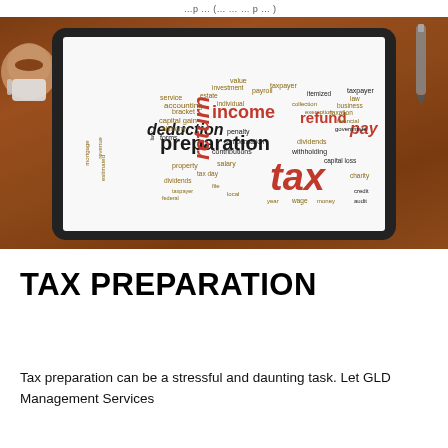…p … (… … … p … )
[Figure (photo): A tablet computer displaying a tax-related word cloud on a wooden table, with a coffee cup in the upper left and a stylus pen in the upper right. The word cloud features terms like 'tax', 'preparation', 'deduction', 'income', 'refund', 'pay', 'return' and other tax-related words in various colors (dark red/brown, gold, dark gray).]
TAX PREPARATION
Tax preparation can be a stressful and daunting task. Let GLD Management Services